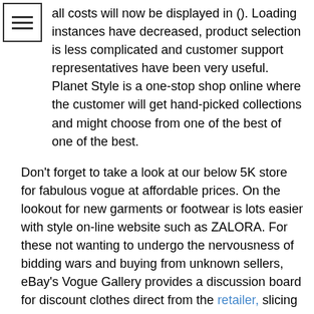[Figure (other): Hamburger menu icon — three horizontal lines in a square border]
all costs will now be displayed in (). Loading instances have decreased, product selection is less complicated and customer support representatives have been very useful. Planet Style is a one-stop shop online where the customer will get hand-picked collections and might choose from one of the best of one of the best.
Don't forget to take a look at our below 5K store for fabulous vogue at affordable prices. On the lookout for new garments or footwear is lots easier with style on-line website such as ZALORA. For these not wanting to undergo the nervousness of bidding wars and buying from unknown sellers, eBay's Vogue Gallery provides a discussion board for discount clothes direct from the retailer, slicing out the middlemen however retaining the saving.
, a quick rising international online trend store, can give you lots of of types of one of the best plus size , attire , swimwears , rings , watches , jewelry , outerwear , shoes , luggage and so forth to choose from. Start modifying now and get your online retailer on